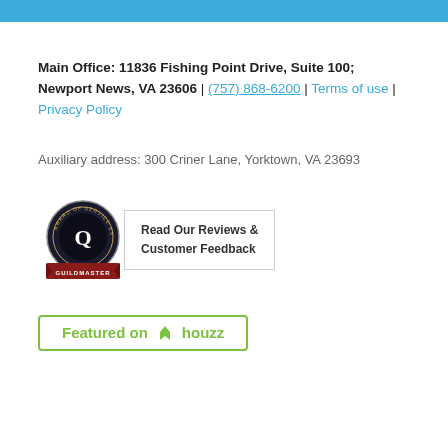Main Office: 11836 Fishing Point Drive, Suite 100; Newport News, VA 23606 | (757) 868-6200 | Terms of use | Privacy Policy
Auxiliary address: 300 Criner Lane, Yorktown, VA 23693
[Figure (logo): Guildmaster Award of Service Excellence badge with text: Read Our Reviews & Customer Feedback]
[Figure (logo): Featured on Houzz button with green border and houzz logo]